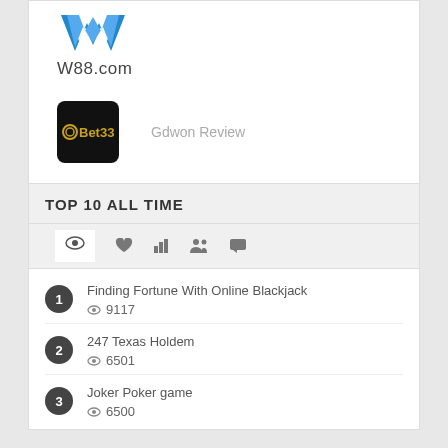[Figure (logo): W88.com logo with blue W and text W88.com]
[Figure (logo): Bet333 black square logo]
Gdwon Review
TOP 10 ALL TIME
[Figure (infographic): Icon row: eye, heart, bar chart, people, speech bubble icons]
1 Finding Fortune With Online Blackjack 9117 views
2 247 Texas Holdem 6501 views
3 Joker Poker game 6500 views